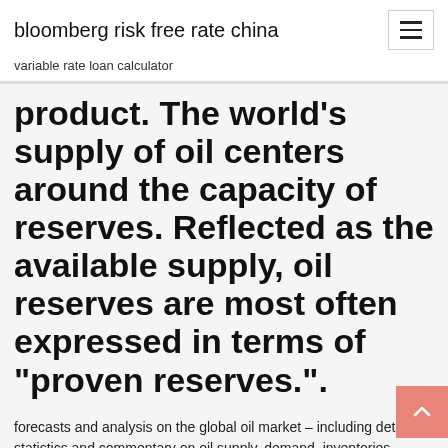bloomberg risk free rate china
variable rate loan calculator
product. The world's supply of oil centers around the capacity of reserves. Reflected as the available supply, oil reserves are most often expressed in terms of "proven reserves.".
forecasts and analysis on the global oil market – including detailed statistics and commentary on oil supply, demand, inventories, prices and refining activity,  27 Aug 2019 The oil